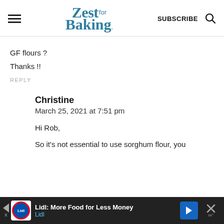Zest for Baking — SUBSCRIBE
GF flours ?
Thanks !!
REPLY
Christine
March 25, 2021 at 7:51 pm
Hi Rob,
So it's not essential to use sorghum flour, you
Lidl: More Food for Less Money
Lidl